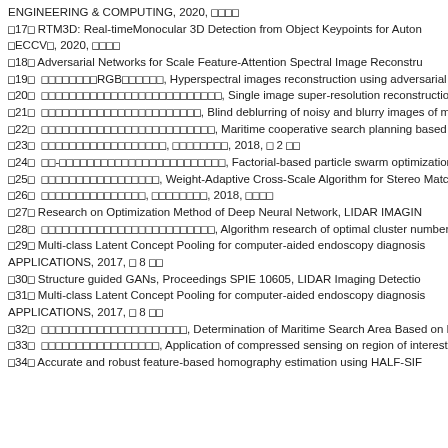ENGINEERING & COMPUTING, 2020, □□□□
□17□ RTM3D: Real-timeMonocular 3D Detection from Object Keypoints for Auton□□□□□□□□
□ECCV□, 2020, □□□□
□18□ Adversarial Networks for Scale Feature-Attention Spectral Image Reconstru□□□□□
□19□ □□□□□□□□RGB□□□□□□, Hyperspectral images reconstruction using adversarial ne□□□□□
□20□ □□□□□□□□□□□□□□□□□□□□□□□□□□, Single image super-resolution reconstruction method ba□□□□□
□21□ □□□□□□□□□□□□□□□□□□□□□□□, Blind deblurring of noisy and blurry images of multi-scale c□□□□□
□22□ □□□□□□□□□□□□□□□□□□□□□□□□□, Maritime cooperative search planning based on memory □□□□□
□23□ □□□□□□□□□□□□□□□□□□, □□□□□□□□, 2018, □ 2 □□
□24□ □□-□□□□□□□□□□□□□□□□□□□□□□□□□□, Factorial-based particle swarm optimization and its appl□□□□□
□25□ □□□□□□□□□□□□□□□□□, Weight-Adaptive Cross-Scale Algorithm for Stereo Matching, □□□□□
□26□ □□□□□□□□□□□□□□□, □□□□□□□□, 2018, □□□□
□27□ Research on Optimization Method of Deep Neural Network, LIDAR IMAGIN□□□□□
□28□ □□□□□□□□□□□□□□□□□□□□□□□□□, Algorithm research of optimal cluster number and initial cl□□□□□
□29□ Multi-class Latent Concept Pooling for computer-aided endoscopy diagnosis□□□□□
APPLICATIONS, 2017, □ 8 □□
□30□ Structure guided GANs, Proceedings SPIE 10605, LIDAR Imaging Detectio□□□□□
□31□ Multi-class Latent Concept Pooling for computer-aided endoscopy diagnosis□□□□□
APPLICATIONS, 2017, □ 8 □□
□32□ □□□□□□□□□□□□□□□□□□□□□, Determination of Maritime Search Area Based on Leeway-□□□□□
□33□ □□□□□□□□□□□□□□□□□, Application of compressed sensing on region of interest codin□□□□□
□34□ Accurate and robust feature-based homography estimation using HALF-SIF□□□□□